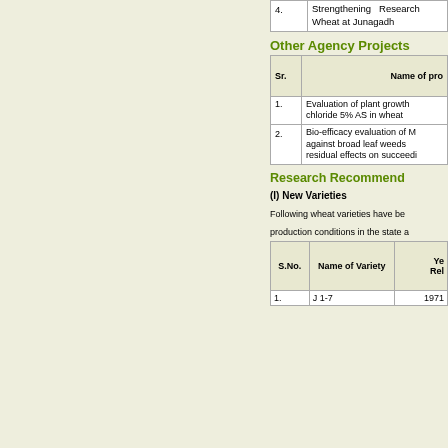| Sr. | Name of project |
| --- | --- |
| 4. | Strengthening Research Wheat at Junagadh |
Other Agency Projects
| Sr. | Name of project |
| --- | --- |
| 1. | Evaluation of plant growth chloride 5% AS in wheat |
| 2. | Bio-efficacy evaluation of M against broad leaf weeds residual effects on succeedi |
Research Recommendations
(I) New Varieties
Following wheat varieties have be production conditions in the state a
| S.No. | Name of Variety | Year Rel |
| --- | --- | --- |
| 1. | J 1-7 | 1971 |